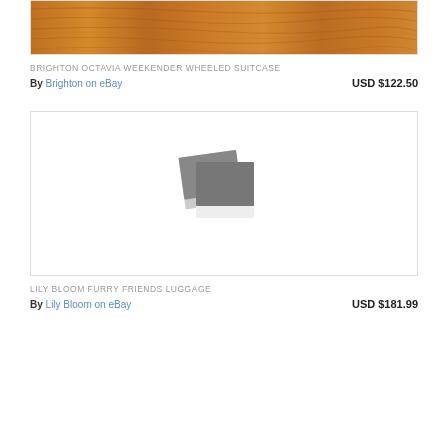[Figure (photo): Wood texture image (top portion visible), product image for Brighton Octavia Weekender Wheeled Suitcase]
BRIGHTON OCTAVIA WEEKENDER WHEELED SUITCASE
By Brighton  on eBay	USD $122.50
[Figure (photo): Placeholder image icon (polaroid-style) for Lily Bloom Furry Friends Luggage]
LILY BLOOM FURRY FRIENDS LUGGAGE
By Lily Bloom  on eBay	USD $181.99